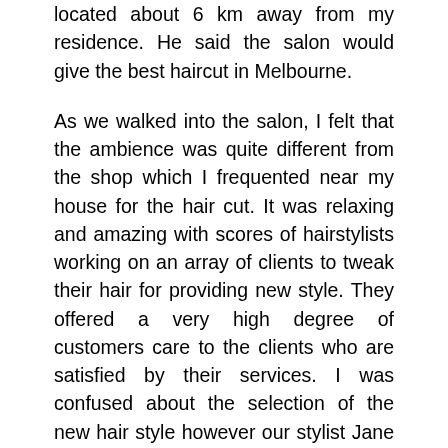located about 6 km away from my residence. He said the salon would give the best haircut in Melbourne.
As we walked into the salon, I felt that the ambience was quite different from the shop which I frequented near my house for the hair cut. It was relaxing and amazing with scores of hairstylists working on an array of clients to tweak their hair for providing new style. They offered a very high degree of customers care to the clients who are satisfied by their services. I was confused about the selection of the new hair style however our stylist Jane resolved the issue by providing a brochure with the list of styles available to the customers.
I was attracted towards the buzz style hair cut as it appeared to be simple and imparted a corporate and contemporary look to the face. Jane told me that it was also known as the Cesar cut and became very popular